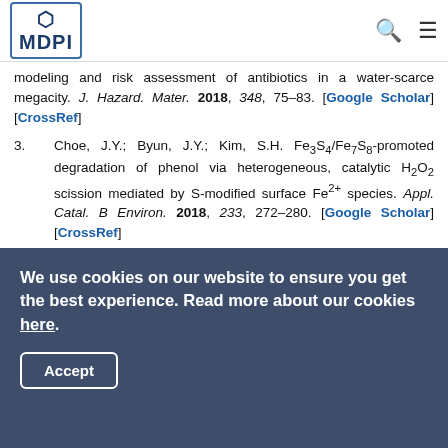MDPI
modeling and risk assessment of antibiotics in a water-scarce megacity. J. Hazard. Mater. 2018, 348, 75–83. [Google Scholar] [CrossRef]
3. Choe, J.Y.; Byun, J.Y.; Kim, S.H. Fe3S4/Fe7S8-promoted degradation of phenol via heterogeneous, catalytic H2O2 scission mediated by S-modified surface Fe2+ species. Appl. Catal. B Environ. 2018, 233, 272–280. [Google Scholar] [CrossRef]
4. Azhar, M.R.; Abid, H.R.; Sun, H.; Periasamy, V.; Tadé, M.O.; Wang, S. Excellent performance of copper based metal organic framework in adsorptive removal of toxic sulfonamide antibiotics from wastewater. J. Colloid
We use cookies on our website to ensure you get the best experience. Read more about our cookies here.
Accept